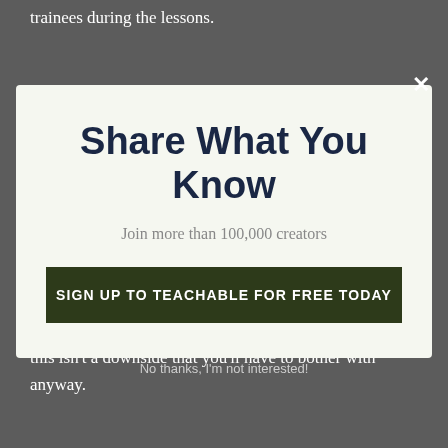trainees during the lessons.
Share What You Know
Join more than 100,000 creators
SIGN UP TO TEACHABLE FOR FREE TODAY
your associates. Again, if you pick a paid strategy, this isn't a downside that you'll have to bother with anyway.
No thanks, I'm not interested!